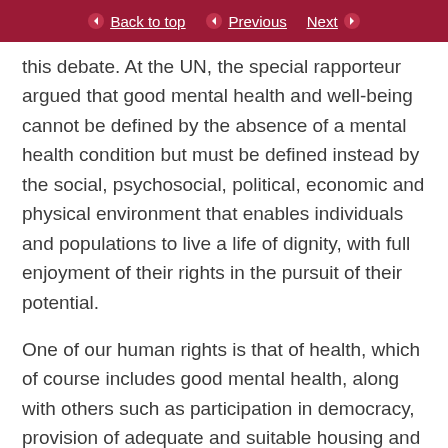Back to top | Previous | Next
this debate. At the UN, the special rapporteur argued that good mental health and well-being cannot be defined by the absence of a mental health condition but must be defined instead by the social, psychosocial, political, economic and physical environment that enables individuals and populations to live a life of dignity, with full enjoyment of their rights in the pursuit of their potential.
One of our human rights is that of health, which of course includes good mental health, along with others such as participation in democracy, provision of adequate and suitable housing and education, a family life, access to justice, participation in society and workers’ rights. In many parts of the world,